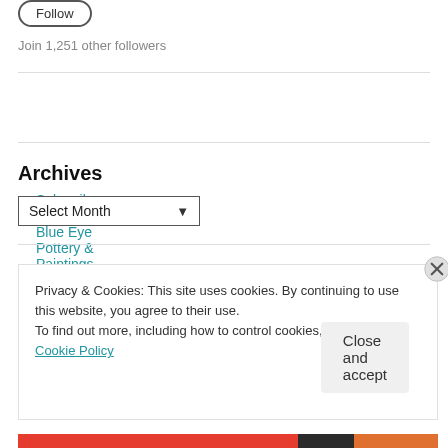[Figure (other): Partial button/badge shape at top, cut off]
Join 1,251 other followers
Subscribe to Billy Blue Eye Pottery & Paintings
Archives
Select Month
Privacy & Cookies: This site uses cookies. By continuing to use this website, you agree to their use.
To find out more, including how to control cookies, see here: Cookie Policy
Close and accept